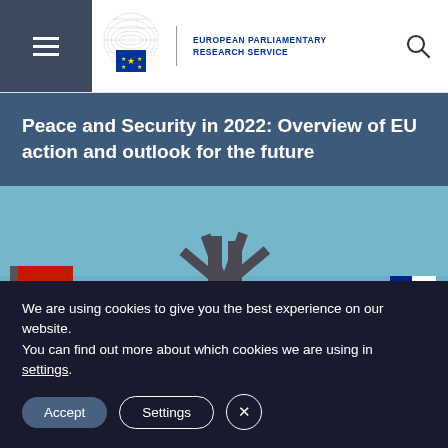European Parliamentary Research Service
Peace and Security in 2022: Overview of EU action and outlook for the future
[Figure (photo): Photograph of the NATO headquarters monument/star structure with flags including a red flag and US flag against a blue sky background]
We are using cookies to give you the best experience on our website.
You can find out more about which cookies we are using in settings.
Accept  Settings  ×